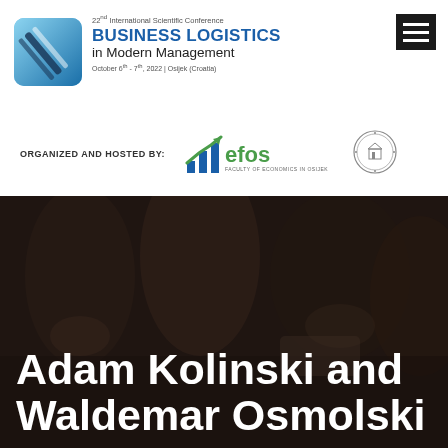[Figure (logo): Business Logistics in Modern Management conference logo with blue geometric road/arrow shape and text]
22nd International Scientific Conference BUSINESS LOGISTICS in Modern Management October 6th - 7th, 2022 | Osijek (Croatia)
[Figure (logo): EFOS Faculty of Economics in Osijek logo with bar chart and arrow icon]
[Figure (logo): University circular seal/stamp logo]
ORGANIZED AND HOSTED BY:
Adam Kolinski and Waldemar Osmolski
[Figure (photo): Dark background photo of people at a conference/workshop setting, used as decorative background behind author names]